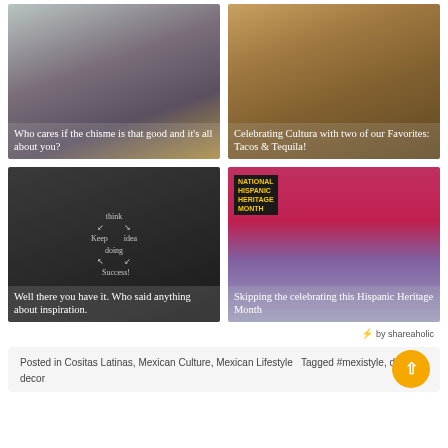[Figure (photo): Photo of a can drink and a bag of Takis snacks on grey surface with card text overlay: 'Who cares if the chisme is that good and it's all about you?']
[Figure (photo): Photo of tequila bottles lined up with card text overlay: 'Celebrating Cultura with two of our Favorites: Tacos & Tequila!']
[Figure (photo): Chalkboard diagram with think/idea/keep doing/success cycle with card text overlay: 'Well there you have it. Who said anything about inspiration.']
[Figure (photo): National Hispanic Heritage Month banner with illustrated face and card text overlay: 'Skipping the celebrating this Hispanic Heritage Month']
⚡ by shareaholic
Posted in Cositas Latinas, Mexican Culture, Mexican Lifestyle   Tagged #mexistyle, decor, decor